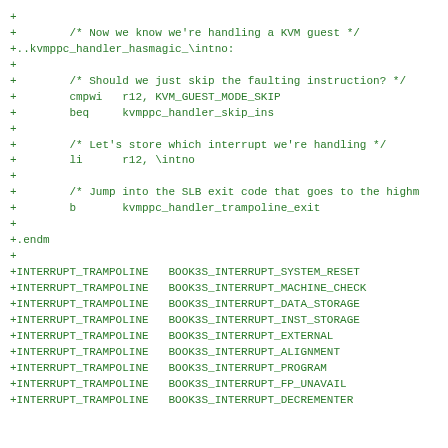+
+        /* Now we know we're handling a KVM guest */
+..kvmppc_handler_hasmagic_\intno:
+
+        /* Should we just skip the faulting instruction? */
+        cmpwi   r12, KVM_GUEST_MODE_SKIP
+        beq     kvmppc_handler_skip_ins
+
+        /* Let's store which interrupt we're handling */
+        li      r12, \intno
+
+        /* Jump into the SLB exit code that goes to the highm
+        b       kvmppc_handler_trampoline_exit
+
+.endm
+
+INTERRUPT_TRAMPOLINE   BOOK3S_INTERRUPT_SYSTEM_RESET
+INTERRUPT_TRAMPOLINE   BOOK3S_INTERRUPT_MACHINE_CHECK
+INTERRUPT_TRAMPOLINE   BOOK3S_INTERRUPT_DATA_STORAGE
+INTERRUPT_TRAMPOLINE   BOOK3S_INTERRUPT_INST_STORAGE
+INTERRUPT_TRAMPOLINE   BOOK3S_INTERRUPT_EXTERNAL
+INTERRUPT_TRAMPOLINE   BOOK3S_INTERRUPT_ALIGNMENT
+INTERRUPT_TRAMPOLINE   BOOK3S_INTERRUPT_PROGRAM
+INTERRUPT_TRAMPOLINE   BOOK3S_INTERRUPT_FP_UNAVAIL
+INTERRUPT_TRAMPOLINE   BOOK3S_INTERRUPT_DECREMENTER